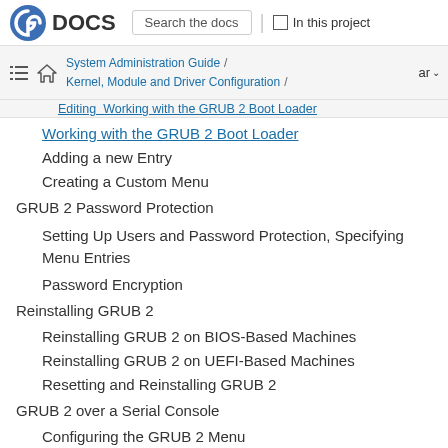DOCS | Search the docs | In this project
System Administration Guide / Kernel, Module and Driver Configuration / Working with the GRUB 2 Boot Loader
Editing... Working with the GRUB 2 Boot Loader
Adding a new Entry
Creating a Custom Menu
GRUB 2 Password Protection
Setting Up Users and Password Protection, Specifying Menu Entries
Password Encryption
Reinstalling GRUB 2
Reinstalling GRUB 2 on BIOS-Based Machines
Reinstalling GRUB 2 on UEFI-Based Machines
Resetting and Reinstalling GRUB 2
GRUB 2 over a Serial Console
Configuring the GRUB 2 Menu
Using screen to Connect to the Serial Console